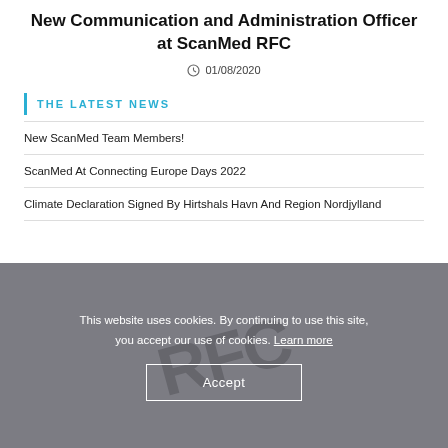New Communication and Administration Officer at ScanMed RFC
01/08/2020
THE LATEST NEWS
New ScanMed Team Members!
ScanMed At Connecting Europe Days 2022
Climate Declaration Signed By Hirtshals Havn And Region Nordjylland
This website uses cookies. By continuing to use this site, you accept our use of cookies. Learn more
Accept